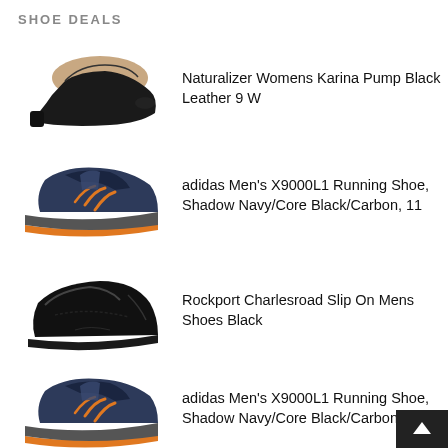SHOE DEALS
Naturalizer Womens Karina Pump Black Leather 9 W
adidas Men's X9000L1 Running Shoe, Shadow Navy/Core Black/Carbon, 11
Rockport Charlesroad Slip On Mens Shoes Black
adidas Men's X9000L1 Running Shoe, Shadow Navy/Core Black/Carbon, 7